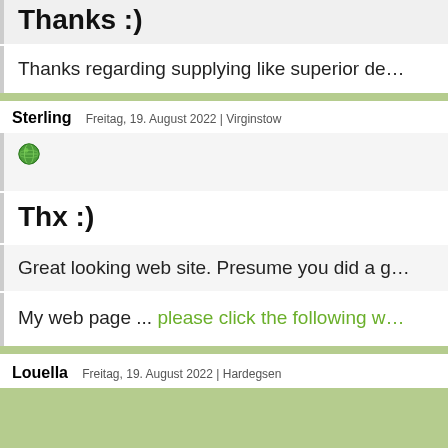Thanks :)
Thanks regarding supplying like superior de…
Sterling   Freitag, 19. August 2022 | Virginstow
[Figure (other): Green globe icon]
Thx :)
Great looking web site. Presume you did a g…
My web page ... please click the following w…
Louella   Freitag, 19. August 2022 | Hardegsen